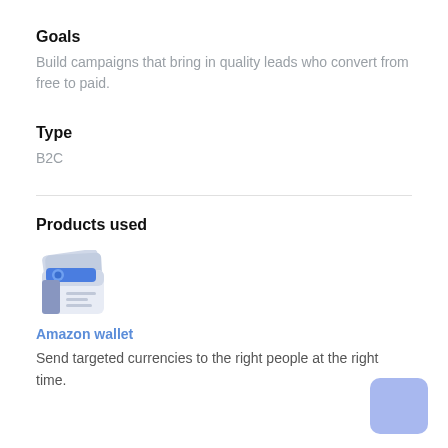Goals
Build campaigns that bring in quality leads who convert from free to paid.
Type
B2C
Products used
[Figure (illustration): Amazon wallet icon showing a wallet with cards and currency]
Amazon wallet
Send targeted currencies to the right people at the right time.